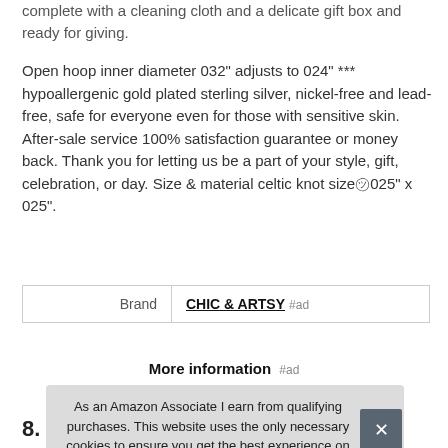complete with a cleaning cloth and a delicate gift box and ready for giving.
Open hoop inner diameter 032" adjusts to 024" *** hypoallergenic gold plated sterling silver, nickel-free and lead-free, safe for everyone even for those with sensitive skin. After-sale service 100% satisfaction guarantee or money back. Thank you for letting us be a part of your style, gift, celebration, or day. Size & material celtic knot size&#13025;025" x 025".
| Brand |  |
| --- | --- |
| Brand | CHIC & ARTSY #ad |
More information #ad
As an Amazon Associate I earn from qualifying purchases. This website uses the only necessary cookies to ensure you get the best experience on our website. More information
8.